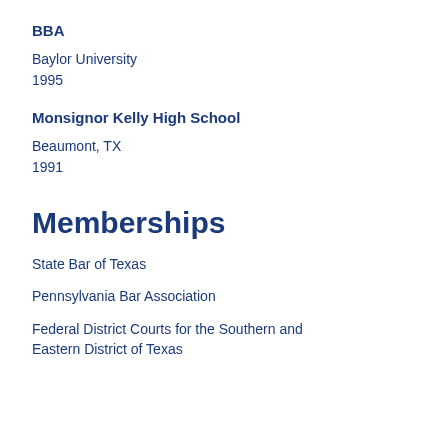BBA
Baylor University
1995
Monsignor Kelly High School
Beaumont, TX
1991
Memberships
State Bar of Texas
Pennsylvania Bar Association
Federal District Courts for the Southern and Eastern District of Texas